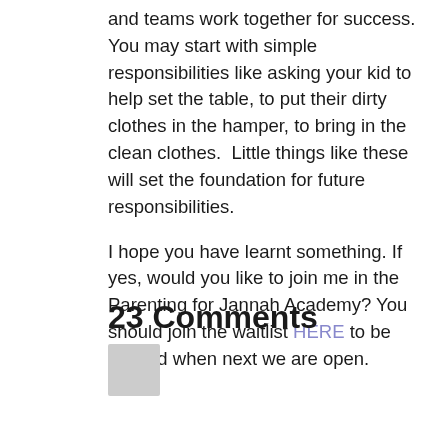and teams work together for success. You may start with simple responsibilities like asking your kid to help set the table, to put their dirty clothes in the hamper, to bring in the clean clothes.  Little things like these will set the foundation for future responsibilities.
I hope you have learnt something. If yes, would you like to join me in the Parenting for Jannah Academy? You should join the waitlist HERE to be notified when next we are open.
23 Comments